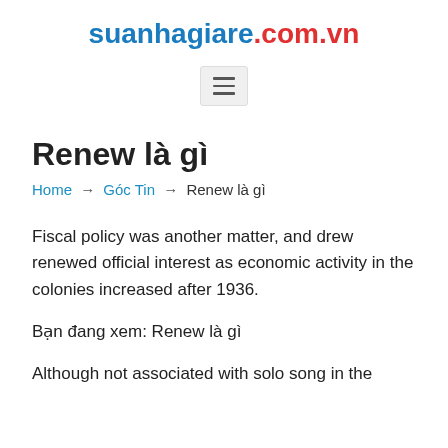suanhagiare.com.vn
[Figure (other): Hamburger menu icon button with three horizontal lines on a light gray background]
Renew là gì
Home → Góc Tin → Renew là gì
Fiscal policy was another matter, and drew renewed official interest as economic activity in the colonies increased after 1936.
Bạn đang xem: Renew là gì
Although not associated with solo song in the